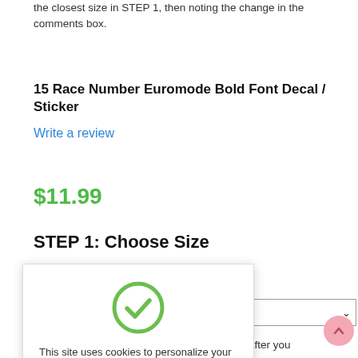the closest size in STEP 1, then noting the change in the comments box.
15 Race Number Euromode Bold Font Decal / Sticker
Write a review
$11.99
STEP 1: Choose Size
[Figure (other): Cookie consent popup with green checkmark circle, cookie policy text with link, and orange Got It! button]
ecals (+$5.00 )
the main image after you